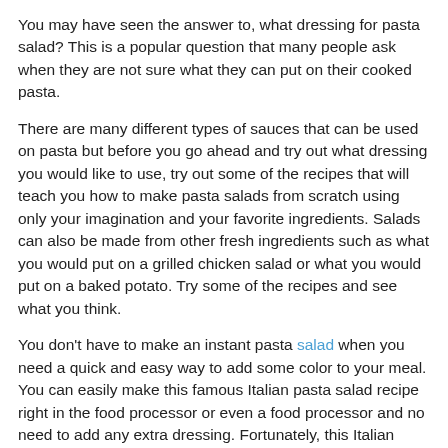You may have seen the answer to, what dressing for pasta salad? This is a popular question that many people ask when they are not sure what they can put on their cooked pasta.
There are many different types of sauces that can be used on pasta but before you go ahead and try out what dressing you would like to use, try out some of the recipes that will teach you how to make pasta salads from scratch using only your imagination and your favorite ingredients. Salads can also be made from other fresh ingredients such as what you would put on a grilled chicken salad or what you would put on a baked potato. Try some of the recipes and see what you think.
You don't have to make an instant pasta salad when you need a quick and easy way to add some color to your meal. You can easily make this famous Italian pasta salad recipe right in the food processor or even a food processor and no need to add any extra dressing. Fortunately, this Italian dressing, which uses only 5 key ingredients, is also thousands of times healthier than any store-bought dressing! It is loaded with tomatoes, olive oil, garlic, basil, oregano, chicken broth,